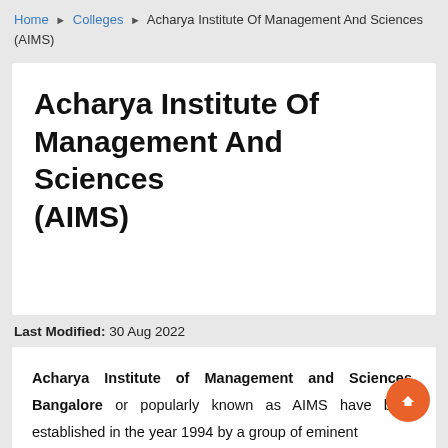Home ▶ Colleges ▶ Acharya Institute Of Management And Sciences (AIMS)
Acharya Institute Of Management And Sciences (AIMS)
Last Modified: 30 Aug 2022
Acharya Institute of Management and Sciences, Bangalore or popularly known as AIMS have been established in the year 1994 by a group of eminent